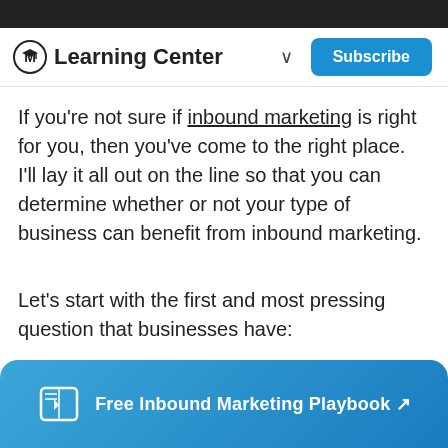Learning Center
If you're not sure if inbound marketing is right for you, then you've come to the right place.  I'll lay it all out on the line so that you can determine whether or not your type of business can benefit from inbound marketing.
Let's start with the first and most pressing question that businesses have:
[Figure (other): Bottom banner with book/playbook icon and text: Free Inbound Marketing Playbook with arrow link]